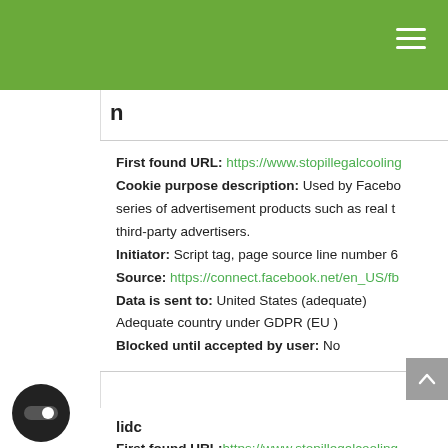n
First found URL: https://www.stopillegalcooling
Cookie purpose description: Used by Facebook to deliver a series of advertisement products such as real time bidding from third-party advertisers.
Initiator: Script tag, page source line number 6
Source: https://connect.facebook.net/en_US/fb
Data is sent to: United States (adequate)
Adequate country under GDPR (EU )
Blocked until accepted by user: No
lidc
First found URL: https://www.stopillegalcooling